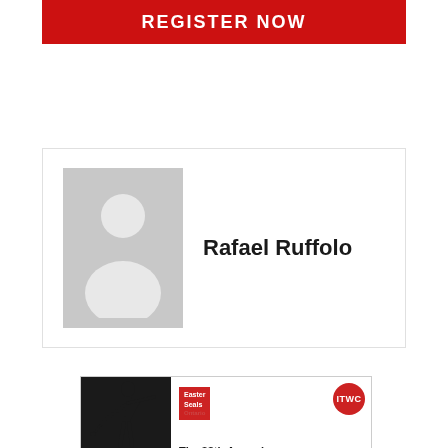REGISTER NOW
[Figure (illustration): Default user profile avatar placeholder: grey silhouette of a person (head and shoulders) on grey background]
Rafael Ruffolo
[Figure (infographic): Advertisement banner for The 38th Annual Canadian Computer charity golf tournament, featuring Easter Seals Ontario logo, ITWC red circle logo, a golfer silhouette swinging a club, and text reading 'The 38th Annual Canadian Computer']